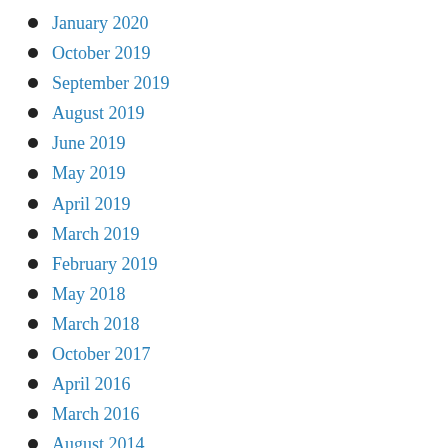January 2020
October 2019
September 2019
August 2019
June 2019
May 2019
April 2019
March 2019
February 2019
May 2018
March 2018
October 2017
April 2016
March 2016
August 2014
May 2014